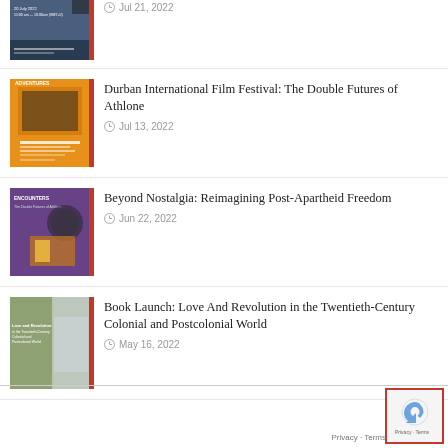Jul 21, 2022
Durban International Film Festival: The Double Futures of Athlone
Jul 13, 2022
Beyond Nostalgia: Reimagining Post-Apartheid Freedom
Jun 22, 2022
Book Launch: Love And Revolution in the Twentieth-Century Colonial and Postcolonial World
May 16, 2022
[Figure (other): reCAPTCHA widget with logo]